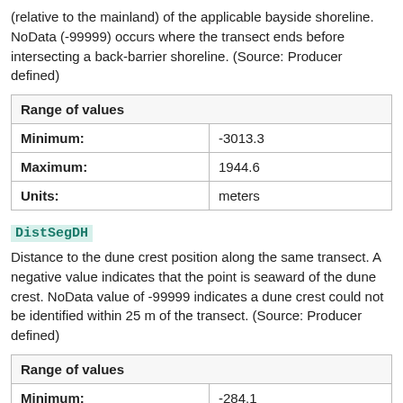(relative to the mainland) of the applicable bayside shoreline. NoData (-99999) occurs where the transect ends before intersecting a back-barrier shoreline. (Source: Producer defined)
| Range of values |  |
| --- | --- |
| Minimum: | -3013.3 |
| Maximum: | 1944.6 |
| Units: | meters |
DistSegDH
Distance to the dune crest position along the same transect. A negative value indicates that the point is seaward of the dune crest. NoData value of -99999 indicates a dune crest could not be identified within 25 m of the transect. (Source: Producer defined)
| Range of values |  |
| --- | --- |
| Minimum: | -284.1 |
| Maximum: | 3155.0 |